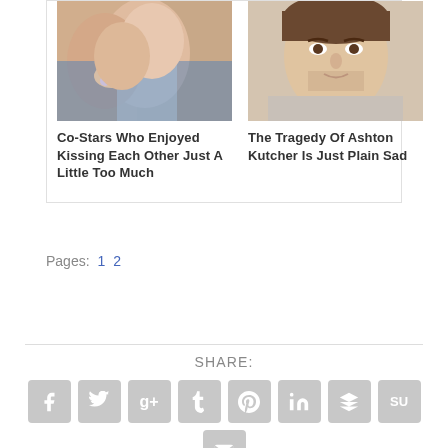[Figure (photo): Two people kissing, close-up photo]
Co-Stars Who Enjoyed Kissing Each Other Just A Little Too Much
[Figure (photo): Portrait of Ashton Kutcher looking at camera]
The Tragedy Of Ashton Kutcher Is Just Plain Sad
Pages: 1 2
SHARE: